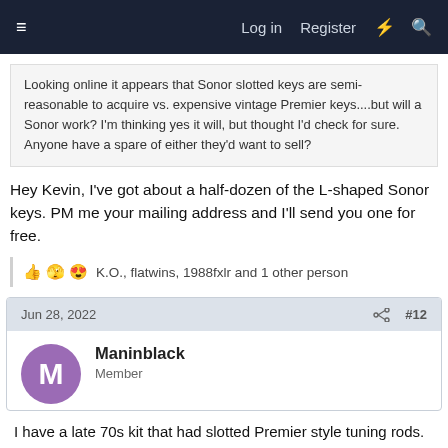≡   Log in   Register   ⚡   🔍
Looking online it appears that Sonor slotted keys are semi-reasonable to acquire vs. expensive vintage Premier keys....but will a Sonor work? I'm thinking yes it will, but thought I'd check for sure. Anyone have a spare of either they'd want to sell?
Hey Kevin, I've got about a half-dozen of the L-shaped Sonor keys. PM me your mailing address and I'll send you one for free.
👍 🤪 😍 K.O., flatwins, 1988fxlr and 1 other person
Jun 28, 2022    #12
Maninblack
Member
I have a late 70s kit that had slotted Premier style tuning rods. As it's a gigging kit I swapped them out for modern ones.